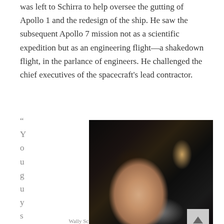was left to Schirra to help oversee the gutting of Apollo 1 and the redesign of the ship. He saw the subsequent Apollo 7 mission not as a scientific expedition but as an engineering flight—a shakedown flight, in the parlance of engineers. He challenged the chief executives of the spacecraft's lead contractor.
“
You guys
[Figure (photo): Wally Schirra inside of the spacecraft, looking upward, wearing a spacesuit. The interior of the Apollo capsule is visible with cables and equipment.]
Wally Schirra inside of the spacecraft...